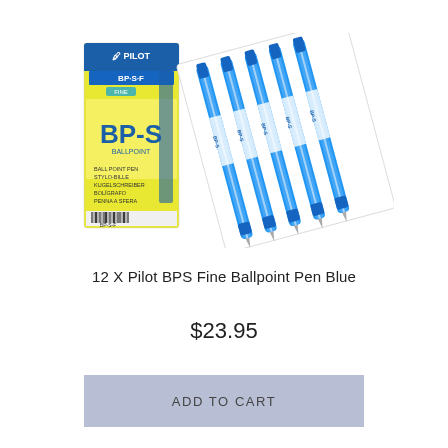[Figure (photo): Product photo showing a Pilot BP-S-F Fine ballpoint pen box in yellow/green packaging alongside 5 blue ballpoint pens fanned out on a white card, shown at an angle.]
12 X Pilot BPS Fine Ballpoint Pen Blue
$23.95
ADD TO CART